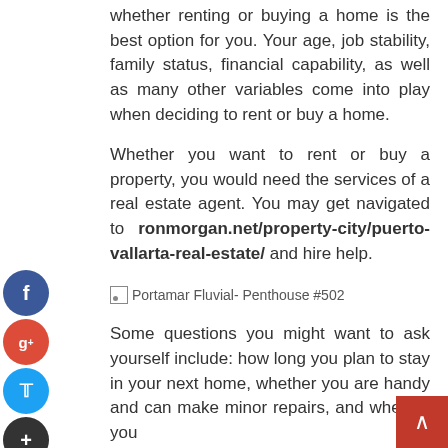whether renting or buying a home is the best option for you. Your age, job stability, family status, financial capability, as well as many other variables come into play when deciding to rent or buy a home.
Whether you want to rent or buy a property, you would need the services of a real estate agent. You may get navigated to ronmorgan.net/property-city/puerto-vallarta-real-estate/ and hire help.
[Figure (photo): Portamar Fluvial- Penthouse #502 (image placeholder)]
Some questions you might want to ask yourself include: how long you plan to stay in your next home, whether you are handy and can make minor repairs, and whether you